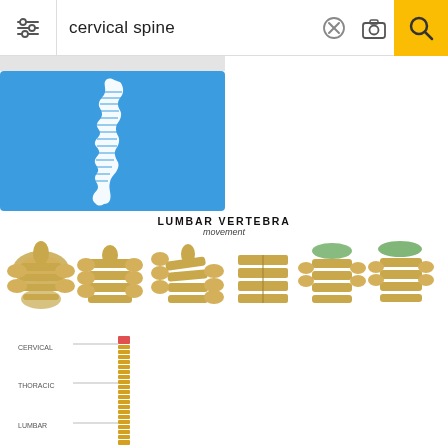cervical spine
[Figure (illustration): Blue background with white silhouette of a human spine (lateral view)]
[Figure (illustration): LUMBAR VERTEBRA movement - six anatomical illustrations showing lumbar vertebrae in different positions/angles, golden/tan colored bones on white background]
[Figure (illustration): Spine diagram showing cervical, thoracic, and lumbar vertebral sections labeled with regions marked on a vertical spine illustration]